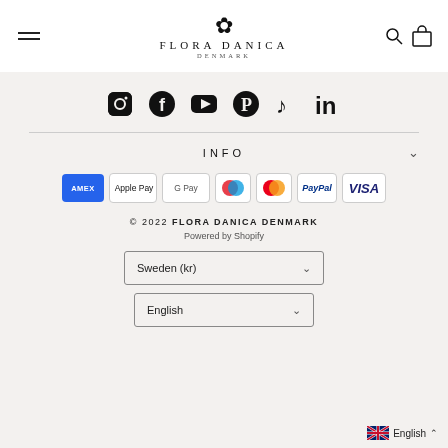Flora Danica Denmark — navigation header with menu icon, logo, search and cart icons
[Figure (logo): Flora Danica Denmark logo with floral emblem above text FLORA DANICA DENMARK]
[Figure (infographic): Social media icons row: Instagram, Facebook, YouTube, Pinterest, TikTok, LinkedIn]
INFO
[Figure (infographic): Payment method icons: American Express, Apple Pay, Google Pay, Maestro, Mastercard, PayPal, Visa]
© 2022 FLORA DANICA DENMARK
Powered by Shopify
Sweden (kr)
English
English